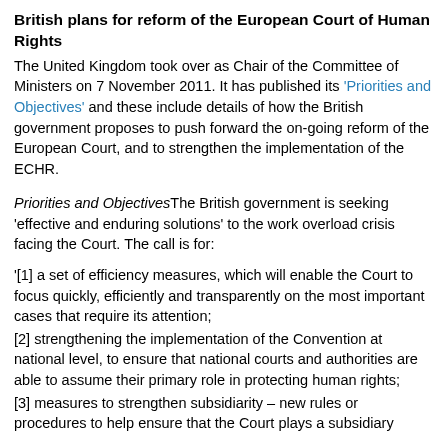British plans for reform of the European Court of Human Rights
The United Kingdom took over as Chair of the Committee of Ministers on 7 November 2011. It has published its 'Priorities and Objectives' and these include details of how the British government proposes to push forward the on-going reform of the European Court, and to strengthen the implementation of the ECHR.
Priorities and ObjectivesThe British government is seeking 'effective and enduring solutions' to the work overload crisis facing the Court. The call is for:
'[1] a set of efficiency measures, which will enable the Court to focus quickly, efficiently and transparently on the most important cases that require its attention;
[2] strengthening the implementation of the Convention at national level, to ensure that national courts and authorities are able to assume their primary role in protecting human rights;
[3] measures to strengthen subsidiarity – new rules or procedures to help ensure that the Court plays a subsidiary